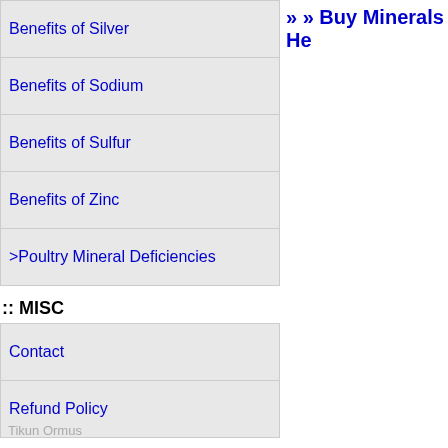Benefits of Silver
Benefits of Sodium
Benefits of Sulfur
Benefits of Zinc
>Poultry Mineral Deficiencies
:: MISC
Contact
Refund Policy
Tikun Ormus
» » Buy Minerals He